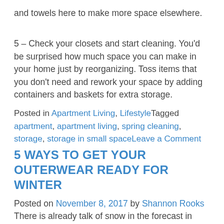and towels here to make more space elsewhere.
5 – Check your closets and start cleaning. You'd be surprised how much space you can make in your home just by reorganizing. Toss items that you don't need and rework your space by adding containers and baskets for extra storage.
Posted in Apartment Living, LifestyleTagged apartment, apartment living, spring cleaning, storage, storage in small spaceLeave a Comment
5 WAYS TO GET YOUR OUTERWEAR READY FOR WINTER
Posted on November 8, 2017 by Shannon Rooks There is already talk of snow in the forecast in New England so it's (finally) time to start pulling out the winter jackets, boots, and hats. Here's how to keep this...